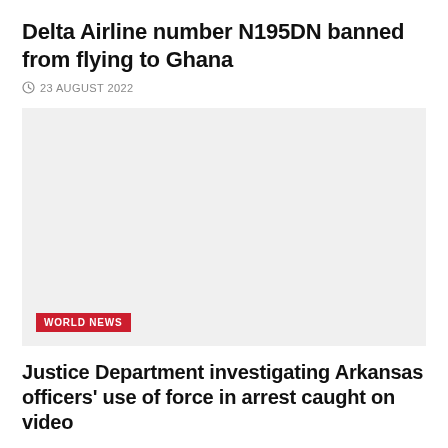Delta Airline number N195DN banned from flying to Ghana
23 AUGUST 2022
[Figure (photo): Large light gray placeholder image with a 'WORLD NEWS' red badge label at the bottom left]
Justice Department investigating Arkansas officers' use of force in arrest caught on video